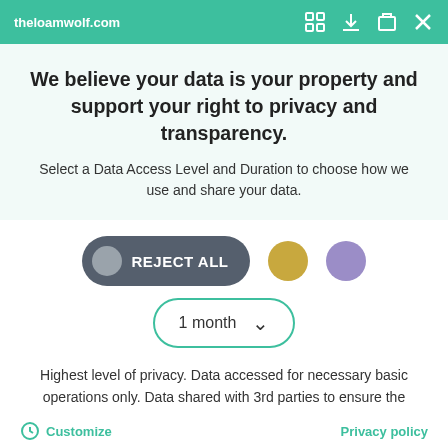theloamwolf.com
We believe your data is your property and support your right to privacy and transparency.
Select a Data Access Level and Duration to choose how we use and share your data.
[Figure (other): Three option buttons: REJECT ALL (dark gray with gray circle), a gold circle button, and a purple circle button]
[Figure (other): Dropdown selector showing '1 month' with a chevron, bordered in teal/green]
Highest level of privacy. Data accessed for necessary basic operations only. Data shared with 3rd parties to ensure the site is secure and works on your device
[Figure (other): Save my preferences button — large teal rounded rectangle button]
Customize   Privacy policy